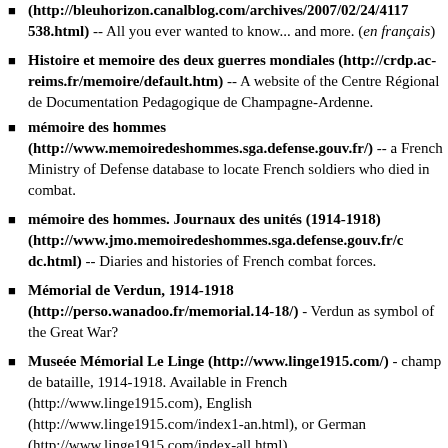(http://bleuhorizon.canalblog.com/archives/2007/02/24/4117538.html) -- All you ever wanted to know... and more. (en français)
Histoire et memoire des deux guerres mondiales (http://crdp.ac-reims.fr/memoire/default.htm) -- A website of the Centre Régional de Documentation Pedagogique de Champagne-Ardenne.
mémoire des hommes (http://www.memoiredeshommes.sga.defense.gouv.fr/) -- a French Ministry of Defense database to locate French soldiers who died in combat.
mémoire des hommes. Journaux des unités (1914-1918) (http://www.jmo.memoiredeshommes.sga.defense.gouv.fr/c dc.html) -- Diaries and histories of French combat forces.
Mémorial de Verdun, 1914-1918 (http://perso.wanadoo.fr/memorial.14-18/) - Verdun as symbol of the Great War?
Museée Mémorial Le Linge (http://www.linge1915.com/) - champ de bataille, 1914-1918. Available in French (http://www.linge1915.com), English (http://www.linge1915.com/index1-an.html), or German (http://www.linge1915.com/index-all.html).